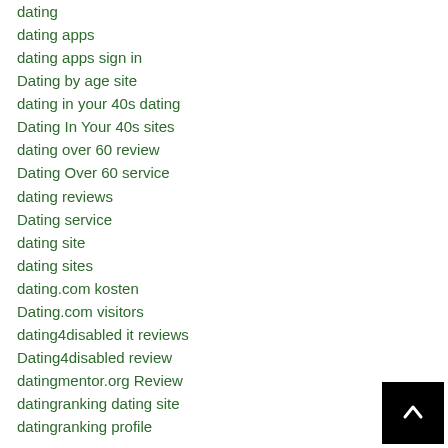dating
dating apps
dating apps sign in
Dating by age site
dating in your 40s dating
Dating In Your 40s sites
dating over 60 review
Dating Over 60 service
dating reviews
Dating service
dating site
dating sites
dating.com kosten
Dating.com visitors
dating4disabled it reviews
Dating4disabled review
datingmentor.org Review
datingranking dating site
datingranking profile